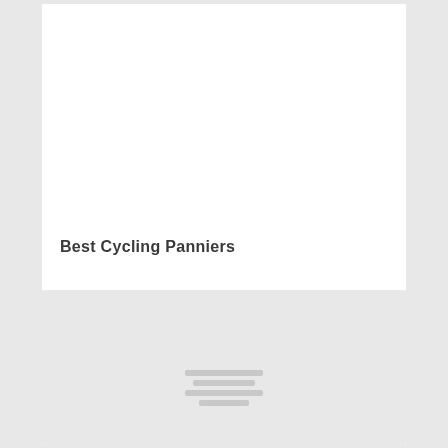[Figure (photo): Rear view of a cyclist riding a bicycle loaded with black panniers on a bike path. Trees and a green hillside visible in the background. The cyclist wears dark pants and a red jacket.]
Best Cycling Panniers
[Figure (other): Loading placeholder box with horizontal grey lines indicating content loading]